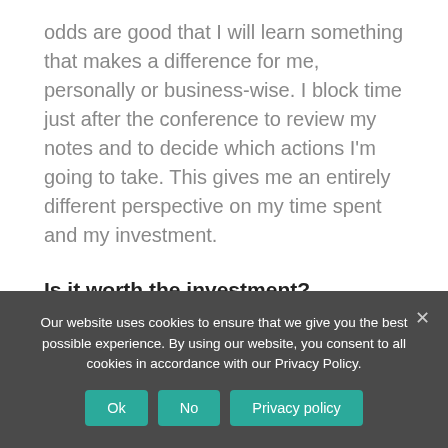odds are good that I will learn something that makes a difference for me, personally or business-wise. I block time just after the conference to review my notes and to decide which actions I'm going to take. This gives me an entirely different perspective on my time spent and my investment.
Is it worth the investment?
Last but certainly not least, I look at the
Our website uses cookies to ensure that we give you the best possible experience. By using our website, you consent to all cookies in accordance with our Privacy Policy.